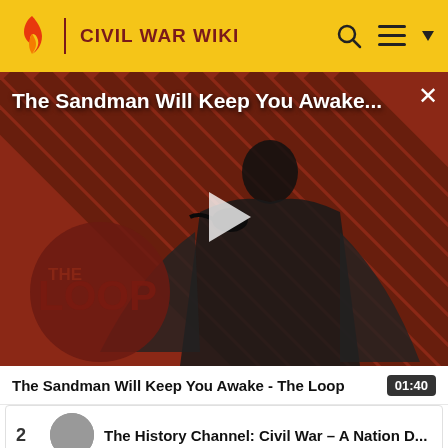CIVIL WAR WIKI
[Figure (screenshot): Video player showing The Sandman character in black cloak against red/brown diagonal striped background with 'THE LOOP' watermark and a play button in the center]
The Sandman Will Keep You Awake - The Loop  01:40
2  The History Channel: Civil War – A Nation D...
[Figure (screenshot): Thumbnail strip for item 3 showing partial movie/show poster with dark reddish background]